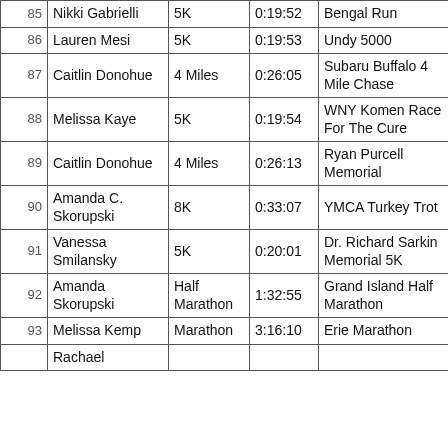| # | Name | Distance | Time | Race | Date |
| --- | --- | --- | --- | --- | --- |
| 85 | Nikki Gabrielli | 5K | 0:19:52 | Bengal Run | 3/31/20... |
| 86 | Lauren Mesi | 5K | 0:19:53 | Undy 5000 | 4/28/20... |
| 87 | Caitlin Donohue | 4 Miles | 0:26:05 | Subaru Buffalo 4 Mile Chase | 7/20/20... |
| 88 | Melissa Kaye | 5K | 0:19:54 | WNY Komen Race For The Cure | 6/9/201... |
| 89 | Caitlin Donohue | 4 Miles | 0:26:13 | Ryan Purcell Memorial | 10/13/20... |
| 90 | Amanda C. Skorupski | 8K | 0:33:07 | YMCA Turkey Trot | 11/22/20... |
| 91 | Vanessa Smilansky | 5K | 0:20:01 | Dr. Richard Sarkin Memorial 5K | 10/20/20... |
| 92 | Amanda Skorupski | Half Marathon | 1:32:55 | Grand Island Half Marathon | 5/5/201... |
| 93 | Melissa Kemp | Marathon | 3:16:10 | Erie Marathon | 9/16/20... |
| 94 | Rachael |  |  |  |  |